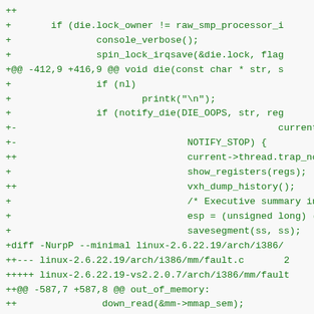++
+       if (die.lock_owner != raw_smp_processor_i
+               console_verbose();
+               spin_lock_irqsave(&die.lock, flag
+@@ -412,9 +416,9 @@ void die(const char * str, s
+               if (nl)
+                       printk("\n");
+               if (notify_die(DIE_OOPS, str, reg
+-                                              current->
+-                              NOTIFY_STOP) {
++                              current->thread.trap_no,
+                               show_registers(regs);
++                              vxh_dump_history();
+                               /* Executive summary in c
+                               esp = (unsigned long) (&r
+                               savesegment(ss, ss);
+diff -NurpP --minimal linux-2.6.22.19/arch/i386/
++--- linux-2.6.22.19/arch/i386/mm/fault.c       2
+++++ linux-2.6.22.19-vs2.2.0.7/arch/i386/mm/fault
++@@ -587,7 +587,8 @@ out_of_memory:
++               down_read(&mm->mmap_sem);
++               goto survive;